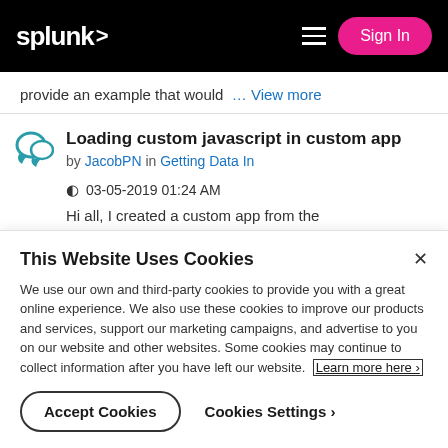splunk> [hamburger menu] Sign In
provide an example that would ... View more
Loading custom javascript in custom app
by JacobPN in Getting Data In
03-05-2019 01:24 AM
Hi all, I created a custom app from the
This Website Uses Cookies
We use our own and third-party cookies to provide you with a great online experience. We also use these cookies to improve our products and services, support our marketing campaigns, and advertise to you on our website and other websites. Some cookies may continue to collect information after you have left our website. Learn more here ›
Accept Cookies   Cookies Settings ›